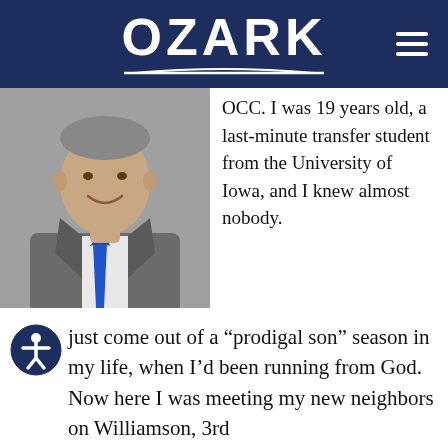OZARK
[Figure (photo): Professional headshot of a middle-aged man in a grey suit with a blue tie, smiling, on a grey background.]
OCC. I was 19 years old, a last-minute transfer student from the University of Iowa, and I knew almost nobody.
[Figure (other): Accessibility icon — circular button with person symbol]
just come out of a “prodigal son” season in my life, when I’d been running from God. Now here I was meeting my new neighbors on Williamson, 3rd